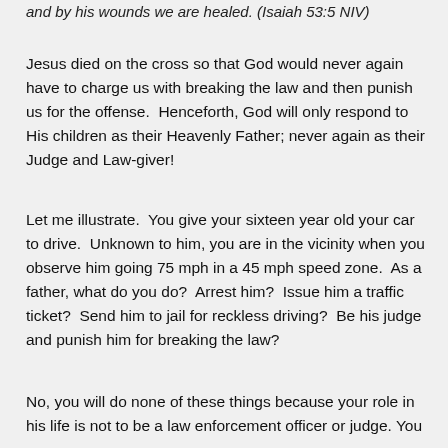and by his wounds we are healed. (Isaiah 53:5 NIV)
Jesus died on the cross so that God would never again have to charge us with breaking the law and then punish us for the offense.  Henceforth, God will only respond to His children as their Heavenly Father; never again as their Judge and Law-giver!
Let me illustrate.  You give your sixteen year old your car to drive.  Unknown to him, you are in the vicinity when you observe him going 75 mph in a 45 mph speed zone.  As a father, what do you do?  Arrest him?  Issue him a traffic ticket?  Send him to jail for reckless driving?  Be his judge and punish him for breaking the law?
No, you will do none of these things because your role in his life is not to be a law enforcement officer or judge. You